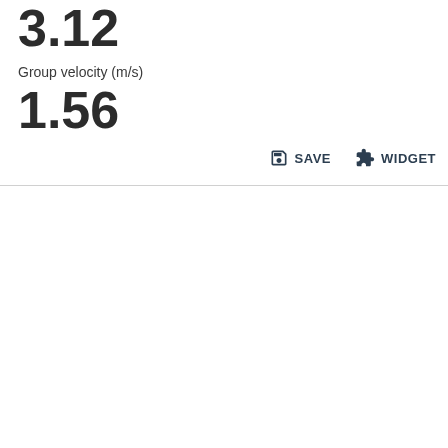3.12
Group velocity (m/s)
1.56
[Figure (screenshot): SAVE button with floppy disk icon and WIDGET button with puzzle piece icon]